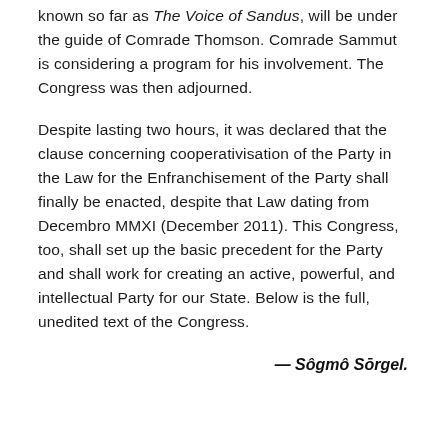known so far as The Voice of Sandus, will be under the guide of Comrade Thomson. Comrade Sammut is considering a program for his involvement. The Congress was then adjourned.
Despite lasting two hours, it was declared that the clause concerning cooperativisation of the Party in the Law for the Enfranchisement of the Party shall finally be enacted, despite that Law dating from Decembro MMXI (December 2011). This Congress, too, shall set up the basic precedent for the Party and shall work for creating an active, powerful, and intellectual Party for our State. Below is the full, unedited text of the Congress.
— Sôgmô Sōrgel.